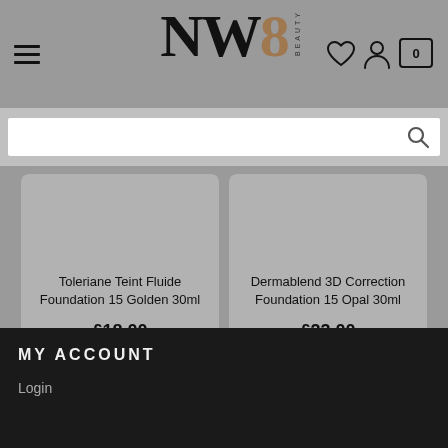NW8 BEAUTY — navigation header with hamburger menu, logo, heart icon, account icon, cart icon (0 items)
[Figure (screenshot): Search bar with magnifying glass icon]
Toleriane Teint Fluide Foundation 15 Golden 30ml
£18.00
Dermablend 3D Correction Foundation 15 Opal 30ml
£23.00
MY ACCOUNT
Login